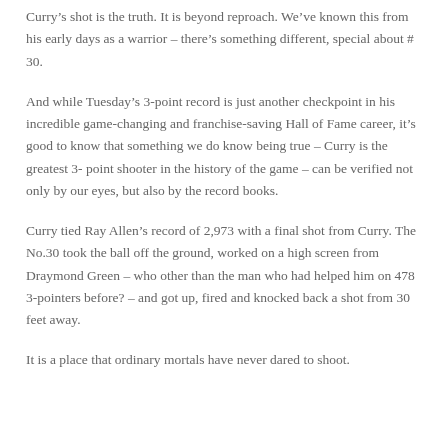Curry’s shot is the truth. It is beyond reproach. We’ve known this from his early days as a warrior – there’s something different, special about # 30.
And while Tuesday’s 3-point record is just another checkpoint in his incredible game-changing and franchise-saving Hall of Fame career, it’s good to know that something we do know being true – Curry is the greatest 3- point shooter in the history of the game – can be verified not only by our eyes, but also by the record books.
Curry tied Ray Allen’s record of 2,973 with a final shot from Curry. The No.30 took the ball off the ground, worked on a high screen from Draymond Green – who other than the man who had helped him on 478 3-pointers before? – and got up, fired and knocked back a shot from 30 feet away.
It is a place that ordinary mortals have never dared to shoot.